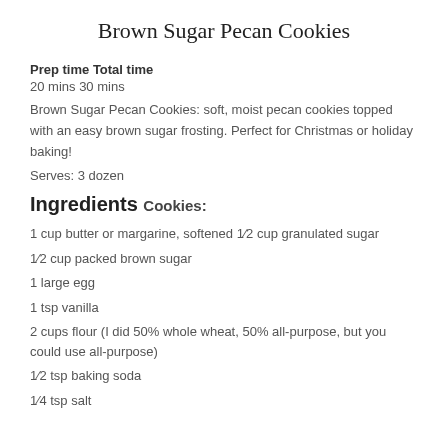Brown Sugar Pecan Cookies
Prep time Total time
20 mins 30 mins
Brown Sugar Pecan Cookies: soft, moist pecan cookies topped with an easy brown sugar frosting. Perfect for Christmas or holiday baking!
Serves: 3 dozen
Ingredients Cookies:
1 cup butter or margarine, softened 1⁄2 cup granulated sugar
1⁄2 cup packed brown sugar
1 large egg
1 tsp vanilla
2 cups flour (I did 50% whole wheat, 50% all-purpose, but you could use all-purpose)
1⁄2 tsp baking soda
1⁄4 tsp salt